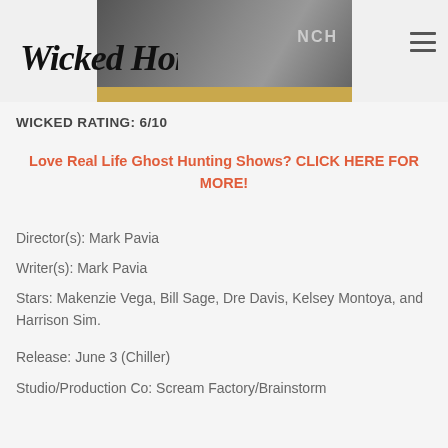Wicked Horror
[Figure (screenshot): Wicked Horror website header with logo on left and hamburger menu icon on right, with a movie image banner in the center-top area and a gold bar below it]
WICKED RATING: 6/10
Love Real Life Ghost Hunting Shows? CLICK HERE FOR MORE!
Director(s): Mark Pavia
Writer(s): Mark Pavia
Stars: Makenzie Vega, Bill Sage, Dre Davis, Kelsey Montoya, and Harrison Sim.
Release: June 3 (Chiller)
Studio/Production Co: Scream Factory/Brainstorm